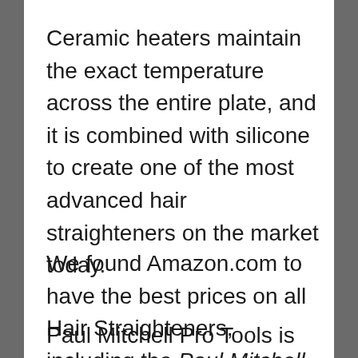Ceramic heaters maintain the exact temperature across the entire plate, and it is combined with silicone to create one of the most advanced hair straighteners on the market today.
We found Amazon.com to have the best prices on all Hair Straighteners, including the Paul Mitchell Pro Tools Express Ion Ceramic Flat Iron. Click here to check it out.
Paul Mitchell Pro Tools is just eleven